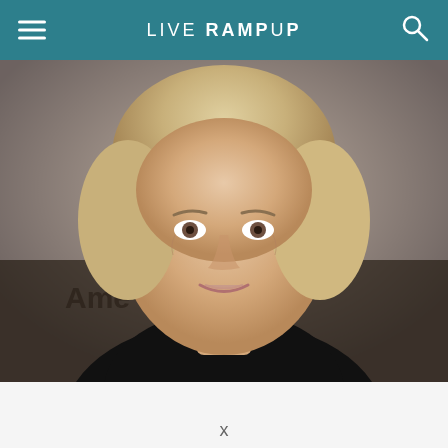LIVE RAMP UP
[Figure (photo): Portrait photo of an older woman with curly blonde hair wearing a black blazer, photographed in front of a backdrop with 'Ame...' text visible]
x